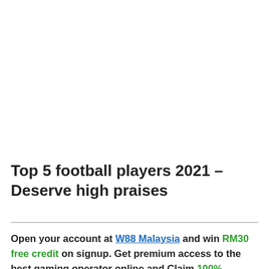Top 5 football players 2021 – Deserve high praises
Open your account at W88 Malaysia and win RM30 free credit on signup. Get premium access to the best gaming operator online and Claim 100% welcome bonuses up to RM600 on Slots on your 1st